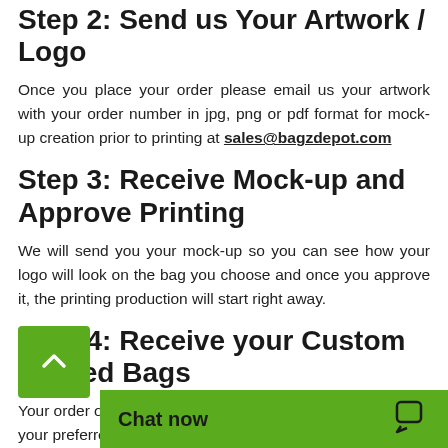Step 2: Send us Your Artwork / Logo
Once you place your order please email us your artwork with your order number in jpg, png or pdf format for mock-up creation prior to printing at sales@bagzdepot.com
Step 3: Receive Mock-up and Approve Printing
We will send you your mock-up so you can see how your logo will look on the bag you choose and once you approve it, the printing production will start right away.
Step 4: Receive your Custom Printed Bags
Your order of custom printed bags will be shipped to your preferred addr...